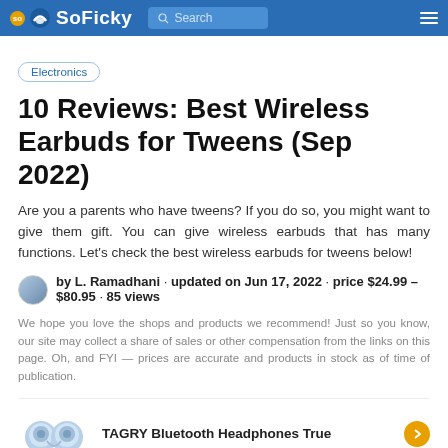SoFicky — Search
Electronics
10 Reviews: Best Wireless Earbuds for Tweens (Sep 2022)
Are you a parents who have tweens? If you do so, you might want to give them gift. You can give wireless earbuds that has many functions. Let's check the best wireless earbuds for tweens below!
by L. Ramadhani · updated on Jun 17, 2022 · price $24.99 – $80.95 · 85 views
We hope you love the shops and products we recommend! Just so you know, our site may collect a share of sales or other compensation from the links on this page. Oh, and FYI — prices are accurate and products in stock as of time of publication.
TAGRY Bluetooth Headphones True